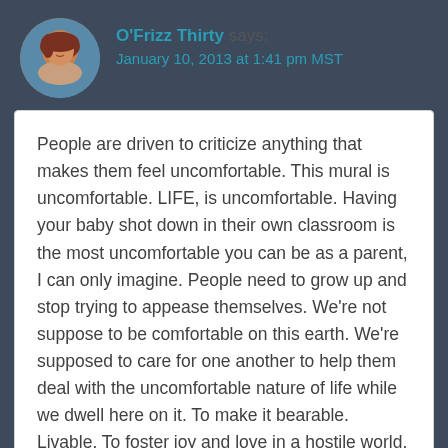O'Frizz Thirty says:
January 10, 2013 at 1:41 pm MST
People are driven to criticize anything that makes them feel uncomfortable. This mural is uncomfortable. LIFE, is uncomfortable. Having your baby shot down in their own classroom is the most uncomfortable you can be as a parent, I can only imagine. People need to grow up and stop trying to appease themselves. We're not suppose to be comfortable on this earth. We're supposed to care for one another to help them deal with the uncomfortable nature of life while we dwell here on it. To make it bearable. Livable. To foster joy and love in a hostile world. If people keep avoiding discomfort, it doesn't